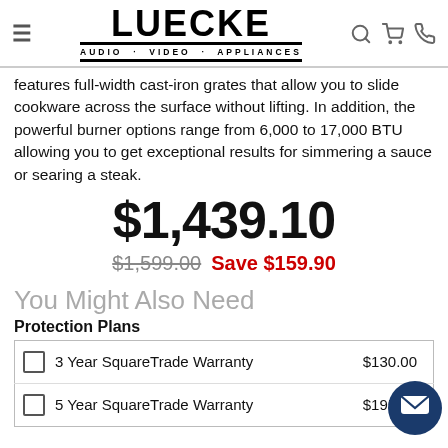LUECKE AUDIO · VIDEO · APPLIANCES
features full-width cast-iron grates that allow you to slide cookware across the surface without lifting. In addition, the powerful burner options range from 6,000 to 17,000 BTU allowing you to get exceptional results for simmering a sauce or searing a steak.
$1,439.10
$1,599.00  Save $159.90
You Might Also Need
Protection Plans
|  | Plan | Price |
| --- | --- | --- |
| ☐ | 3 Year SquareTrade Warranty | $130.00 |
| ☐ | 5 Year SquareTrade Warranty | $195.00 |